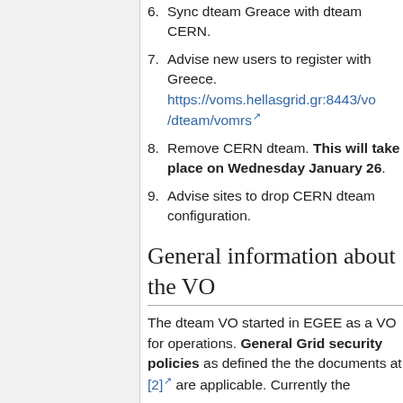6. Sync dteam Greace with dteam CERN.
7. Advise new users to register with Greece. https://voms.hellasgrid.gr:8443/vo/dteam/vomrs
8. Remove CERN dteam. This will take place on Wednesday January 26.
9. Advise sites to drop CERN dteam configuration.
General information about the VO
The dteam VO started in EGEE as a VO for operations. General Grid security policies as defined the the documents at [2] are applicable. Currently the